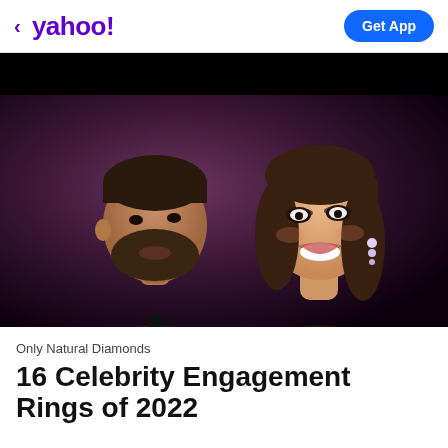< yahoo! | Get App
[Figure (photo): A celebrity couple close together. A bearded man in a black suit and tie leans close to a smiling woman with long brown hair wearing diamond earrings, against a purple/dark backdrop.]
Only Natural Diamonds
16 Celebrity Engagement Rings of 2022